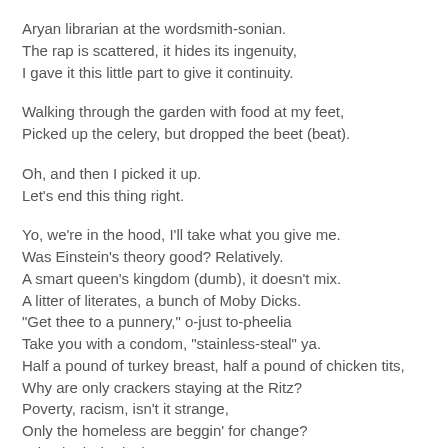Aryan librarian at the wordsmith-sonian.
The rap is scattered, it hides its ingenuity,
I gave it this little part to give it continuity.
Walking through the garden with food at my feet,
Picked up the celery, but dropped the beet (beat).
Oh, and then I picked it up.
Let's end this thing right.
Yo, we're in the hood, I'll take what you give me.
Was Einstein's theory good? Relatively.
A smart queen's kingdom (dumb), it doesn't mix.
A litter of literates, a bunch of Moby Dicks.
"Get thee to a punnery," o-just to-pheelia
Take you with a condom, "stainless-steal" ya.
Half a pound of turkey breast, half a pound of chicken tits,
Why are only crackers staying at the Ritz?
Poverty, racism, isn't it strange,
Only the homeless are beggin' for change?
I shocked Sherlock
What, son? (Watson)
Rosa Parks didn't call "shotgun"!
Well, here's a bit of irony
A Ford Focus driver's got ADD,